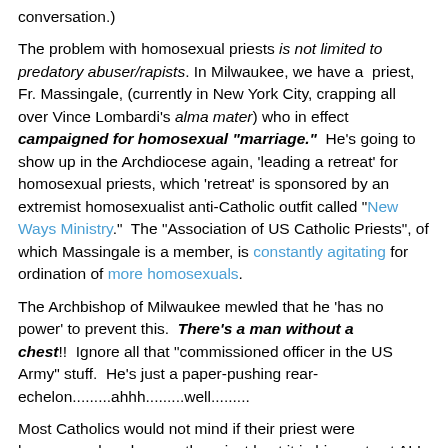conversation.)
The problem with homosexual priests is not limited to predatory abuser/rapists.  In Milwaukee, we have a  priest, Fr. Massingale, (currently in New York City, crapping all over Vince Lombardi's alma mater) who in effect campaigned for homosexual "marriage."  He's going to show up in the Archdiocese again, 'leading a retreat' for homosexual priests, which 'retreat' is sponsored by an extremist homosexualist anti-Catholic outfit called "New Ways Ministry."  The "Association of US Catholic Priests", of which Massingale is a member, is constantly agitating for ordination of more homosexuals.
The Archbishop of Milwaukee mewled that he 'has no power' to prevent this.  There's a man without a chest!!  Ignore all that "commissioned officer in the US Army" stuff.  He's just a paper-pushing rear-echelon.........ahhh.........well.........
Most Catholics would not mind if their priest were homosexual, so long as the priest kept it in his pants at ALL times, preached solid Catholic doctrine, and did not flounce